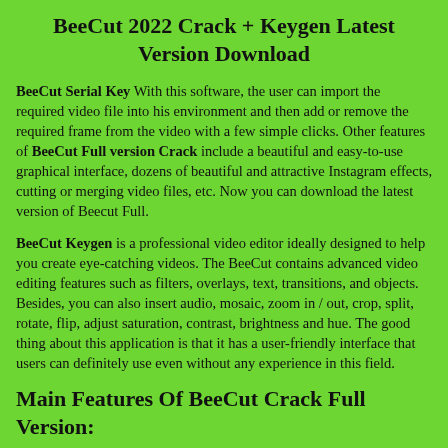BeeCut 2022 Crack + Keygen Latest Version Download
BeeCut Serial Key With this software, the user can import the required video file into his environment and then add or remove the required frame from the video with a few simple clicks. Other features of BeeCut Full version Crack include a beautiful and easy-to-use graphical interface, dozens of beautiful and attractive Instagram effects, cutting or merging video files, etc. Now you can download the latest version of Beecut Full.
BeeCut Keygen is a professional video editor ideally designed to help you create eye-catching videos. The BeeCut contains advanced video editing features such as filters, overlays, text, transitions, and objects. Besides, you can also insert audio, mosaic, zoom in / out, crop, split, rotate, flip, adjust saturation, contrast, brightness and hue. The good thing about this application is that it has a user-friendly interface that users can definitely use even without any experience in this field.
Main Features Of BeeCut Crack Full Version: